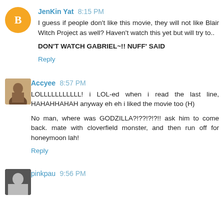JenKin Yat 8:15 PM
I guess if people don't like this movie, they will not like Blair Witch Project as well? Haven't watch this yet but will try to..
DON'T WATCH GABRIEL~!! NUFF' SAID
Reply
Accyee 8:57 PM
LOLLLLLLLLLLLL! i LOL-ed when i read the last line, HAHAHHAHAH anyway eh eh i liked the movie too (H)
No man, where was GODZILLA?!??!?!?!! ask him to come back. mate with cloverfield monster, and then run off for honeymoon lah!
Reply
pinkpau 9:56 PM